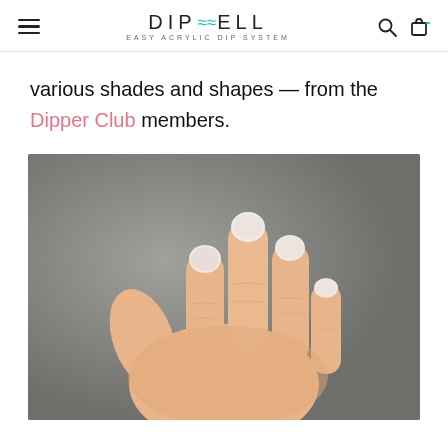DIPWELL — EASY ACRYLIC DIP SYSTEM
various shades and shapes — from the Dipper Club members.
[Figure (photo): A close-up photo of a hand held up showing nails with acrylic dip nail extensions in soft pink/white shades on a grey background]